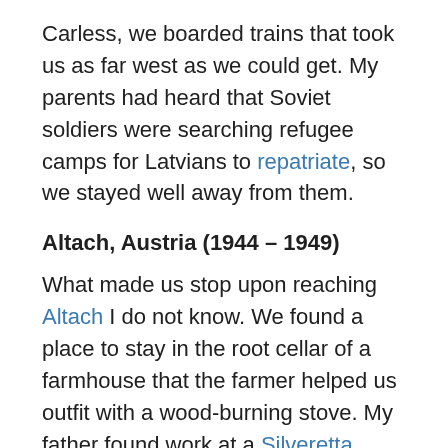Carless, we boarded trains that took us as far west as we could get. My parents had heard that Soviet soldiers were searching refugee camps for Latvians to repatriate, so we stayed well away from them.
Altach, Austria (1944 – 1949)
What made us stop upon reaching Altach I do not know. We found a place to stay in the root cellar of a farmhouse that the farmer helped us outfit with a wood-burning stove. My father found work at a Silveretta hydroelectric dam. I do not know how long he lasted there, but after he fell the equivalent of several stories and landed on a ledge, he decided that was not for him. Instead, he started studying law at the University of Innsbruck. My mother taught herself stenography and eventually found work as the personal assistant to a successful businessman who was very kind to our entire family.